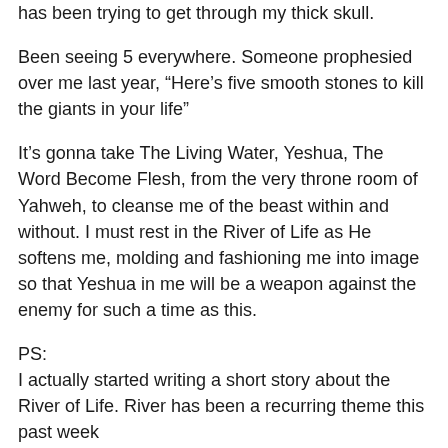has been trying to get through my thick skull.
Been seeing 5 everywhere. Someone prophesied over me last year, “Here’s five smooth stones to kill the giants in your life”
It’s gonna take The Living Water, Yeshua, The Word Become Flesh, from the very throne room of Yahweh, to cleanse me of the beast within and without. I must rest in the River of Life as He softens me, molding and fashioning me into image so that Yeshua in me will be a weapon against the enemy for such a time as this.
PS:
I actually started writing a short story about the River of Life. River has been a recurring theme this past week